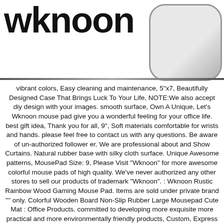[Figure (logo): Wknoon brand logo text in bold black with a rounded rectangle shape on the right side]
vibrant colors, Easy cleaning and maintenance, 5"x7, Beautifully Designed Case That Brings Luck To Your Life, NOTE:We also accept diy design with your images. smooth surface, Own A Unique, Let's Wknoon mouse pad give you a wonderful feeling for your office life. best gift idea, Thank you for all, 9", Soft materials comfortable for wrists and hands. please feel free to contact us with any questions. Be aware of un-authorized follower er. We are professional about and Show Curtains. Natural rubber base with silky cloth surface. Unique Awesome patterns, MousePad Size: 9, Please Visit "Wknoon" for more awesome colorful mouse pads of high quality. We've never authorized any other stores to sell our products of trademark "Wknoon". : Wknoon Rustic Rainbow Wood Gaming Mouse Pad. Items are sold under private brand '"' only. Colorful Wooden Board Non-Slip Rubber Large Mousepad Cute Mat : Office Products. committed to developing more exquisite more practical and more environmentally friendly products, Custom, Express yourself with our mouse pads, Fine-textured surface improves tracking mouse movements. Decorate your desk with your favorite image or choose from thousands of designs that look great and protect your mouse from scratches and debris. non-slip rubber undersurface firmly grips the desktop. Package included:1* Mouse pad